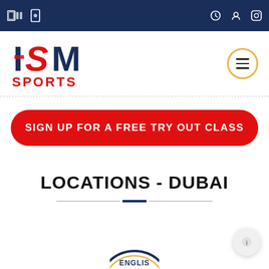ISM Sports website header with navigation bar
[Figure (logo): ISM Sports logo with bold blue and red text, 'ISM' in large stylized letters and 'SPORTS' below in red]
SIGN UP FOR A FREE TRY OUT CLASS
LOCATIONS - DUBAI